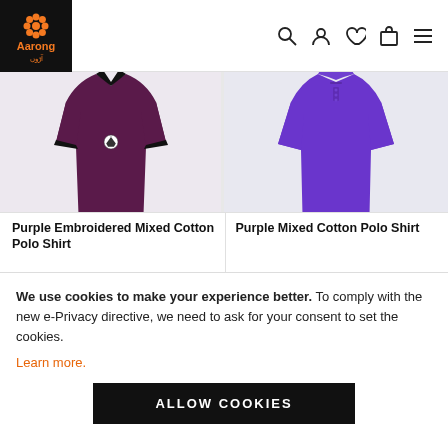Aarong - navigation header with search, user, wishlist, cart, menu icons
[Figure (photo): Purple Embroidered Mixed Cotton Polo Shirt - dark purple/maroon polo shirt with black V-collar and black sleeve trim, with small soccer ball embroidery on chest]
[Figure (photo): Purple Mixed Cotton Polo Shirt - bright purple polo shirt with button placket collar]
Purple Embroidered Mixed Cotton Polo Shirt
Purple Mixed Cotton Polo Shirt
We use cookies to make your experience better. To comply with the new e-Privacy directive, we need to ask for your consent to set the cookies. Learn more.
ALLOW COOKIES